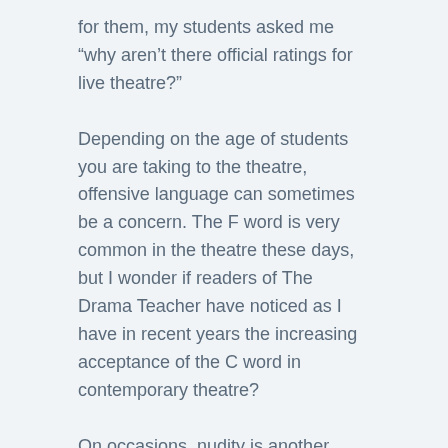for them, my students asked me “why aren’t there official ratings for live theatre?”
Depending on the age of students you are taking to the theatre, offensive language can sometimes be a concern. The F word is very common in the theatre these days, but I wonder if readers of The Drama Teacher have noticed as I have in recent years the increasing acceptance of the C word in contemporary theatre?
On occasions, nudity is another issue, but thankfully not that common. Of course, it all depends what shows one attends. In my experience, genuine displays of violence are rare in mainstream theatre, most likely because the special effects of film do not always translate to the live theatre stage.